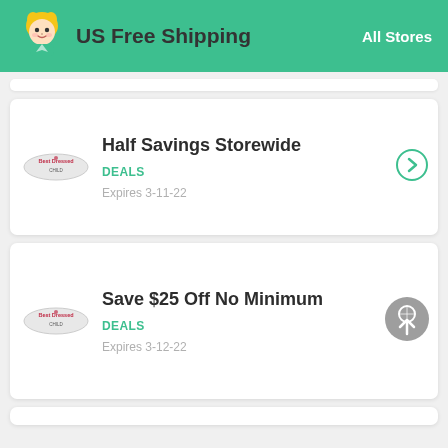US Free Shipping  All Stores
Half Savings Storewide
DEALS
Expires 3-11-22
Save $25 Off No Minimum
DEALS
Expires 3-12-22